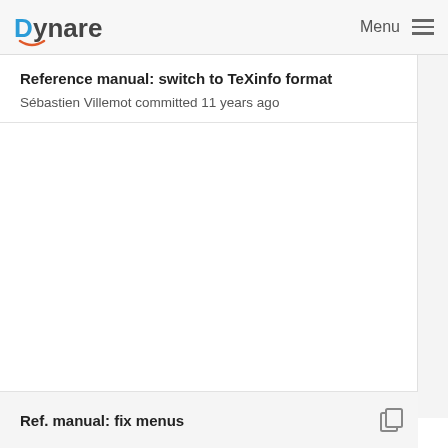Dynare   Menu
Reference manual: switch to TeXinfo format
Sébastien Villemot committed 11 years ago
Ref. manual: fix menus